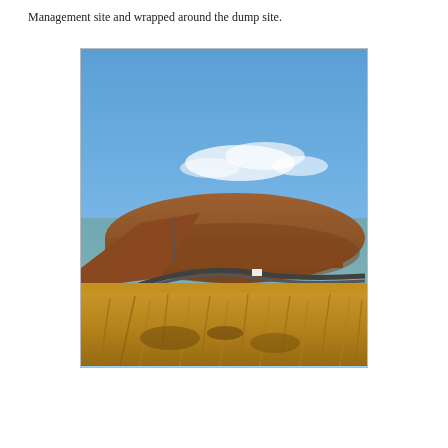Management site and wrapped around the dump site.
[Figure (photo): Outdoor landscape photograph showing a winding road curving around a large reddish-brown hill or earthen mound under a blue sky with light clouds. The foreground is filled with dry golden-brown grass and shrubs typical of arid terrain.]